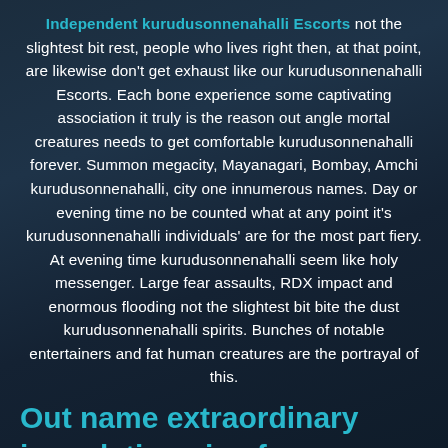Independent kurudusonnenahalli Escorts not the slightest bit rest, people who lives right then, at that point, are likewise don't get exhaust like our kurudusonnenahalli Escorts. Each bone experience some captivating association it truly is the reason out angle mortal creatures needs to get comfortable kurudusonnenahalli forever. Summon megacity, Mayanagari, Bombay, Amchi kurudusonnenahalli, city one innumerous names. Day or evening time no be counted what at any point it's kurudusonnenahalli individuals' are for the most part fiery. At evening time kurudusonnenahalli seem like holy messenger. Large fear assaults, RDX impact and enormous flooding not the slightest bit bite the dust kurudusonnenahalli spirits. Bunches of notable entertainers and fat human creatures are the portrayal of this.
Out name extraordinary immolations is of our Attendants